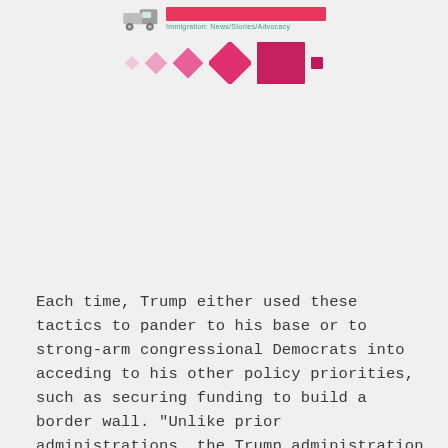[Figure (logo): Immigration news/stories/advocacy logo with truck icon, pink bar, teal subtitle text, and a row of pink diamond/square shapes in varying sizes]
Each time, Trump either used these tactics to pander to his base or to strong-arm congressional Democrats into acceding to his other policy priorities, such as securing funding to build a border wall. "Unlike prior administrations, the Trump administration seems perfectly willing to use immigrant